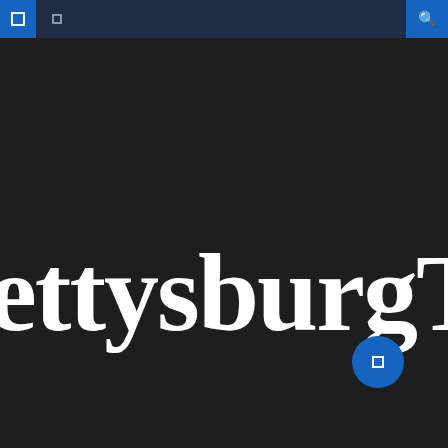[Figure (screenshot): Mobile app top navigation bar with dark navy background, blue hamburger menu button on left, small icon in middle section, and blue search icon button on right]
[Figure (logo): Gettysburg Times newspaper logo — white bold serif text on dark background, partially cropped showing 'ettysburgTim']
[Figure (other): Blue circular floating action button with a small white square icon, positioned in lower right of the dark main content area]